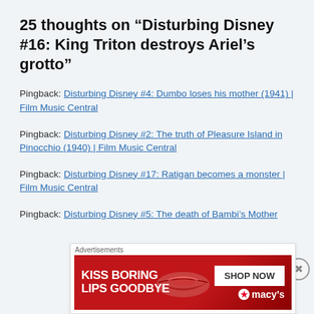25 thoughts on “Disturbing Disney #16: King Triton destroys Ariel’s grotto”
Pingback: Disturbing Disney #4: Dumbo loses his mother (1941) | Film Music Central
Pingback: Disturbing Disney #2: The truth of Pleasure Island in Pinocchio (1940) | Film Music Central
Pingback: Disturbing Disney #17: Ratigan becomes a monster | Film Music Central
Pingback: Disturbing Disney #5: The death of Bambi’s Mother
Advertisements
[Figure (photo): Advertisement banner for Macy's lipstick: 'KISS BORING LIPS GOODBYE' with SHOP NOW button and Macy's star logo, showing a woman's lips on red background.]